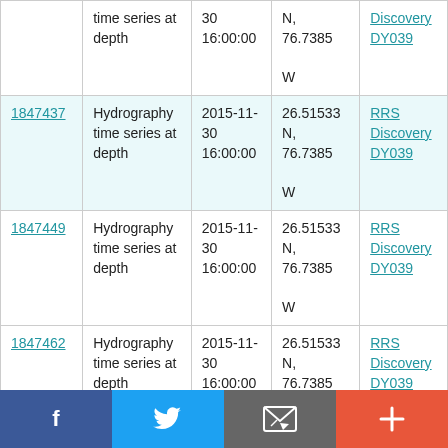| ID | Type | Date | Location | Cruise |
| --- | --- | --- | --- | --- |
| (partial row) | Hydrography time series at depth | 2015-11-30 16:00:00 | N, 76.7385 W | RRS Discovery DY039 |
| 1847437 | Hydrography time series at depth | 2015-11-30 16:00:00 | 26.51533 N, 76.7385 W | RRS Discovery DY039 |
| 1847449 | Hydrography time series at depth | 2015-11-30 16:00:00 | 26.51533 N, 76.7385 W | RRS Discovery DY039 |
| 1847462 | Hydrography time series at depth | 2015-11-30 16:00:00 | 26.51533 N, 76.7385 W | RRS Discovery DY039 |